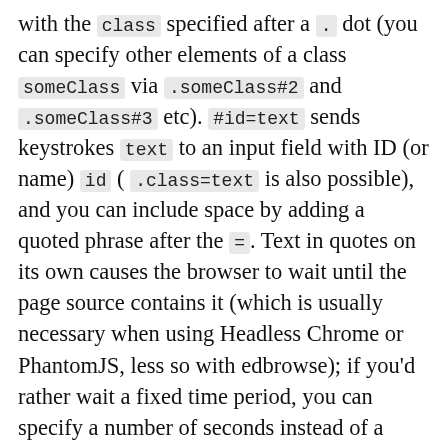with the class specified after a . dot (you can specify other elements of a class someClass via .someClass#2 and .someClass#3 etc). #id=text sends keystrokes text to an input field with ID (or name) id ( .class=text is also possible), and you can include space by adding a quoted phrase after the =. Text in quotes on its own causes the browser to wait until the page source contains it (which is usually necessary when using Headless Chrome or PhantomJS, less so with edbrowse); if you'd rather wait a fixed time period, you can specify a number of seconds instead of a quoted string. Also available is #id->text to select from a drop-down (by visible text; blank means deselect all; add quotes after the -> to select a multi-word phrase), and #id*n to set a checkbox to state n (0 or